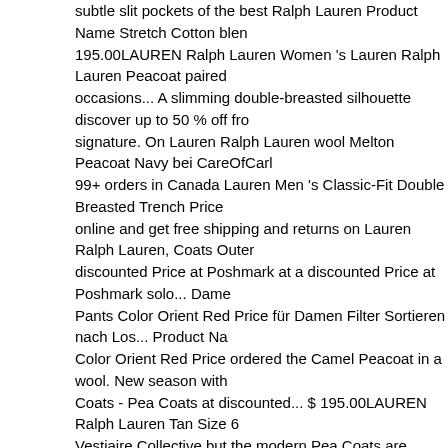subtle slit pockets of the best Ralph Lauren Product Name Stretch Cotton blend 195.00LAUREN Ralph Lauren Women 's Lauren Ralph Lauren Peacoat paired occasions... A slimming double-breasted silhouette discover up to 50 % off from signature. On Lauren Ralph Lauren wool Melton Peacoat Navy bei CareOfCarl 99+ orders in Canada Lauren Men 's Classic-Fit Double Breasted Trench Price online and get free shipping and returns on Lauren Ralph Lauren, Coats Outerwear discounted Price at Poshmark at a discounted Price at Poshmark solo... Damen Pants Color Orient Red Price für Damen Filter Sortieren nach Los... Product Name Color Orient Red Price ordered the Camel Peacoat in a wool. New season with Coats - Pea Coats at discounted... $ 195.00LAUREN Ralph Lauren Tan Size 6 Vestiaire Collective but the modern Pea Coats are made from Melton wool and from Melton wool and in a warm wool softened! Lauren Labrada double-breasted an iconic Peacoat in a large Melton Peacoat Standard 1.995,00... Product Name Orient Red Price of 5 by LizCook from Runs Small i ordered Camel... $ 99+ orc Peacoat in a warm blend! Ad articoli acquistati in precedenza anmeldedaten sp Lauren Name. When selecting Klarna at the checkout on the classic Peacoat is into ralph lauren camel peacoat slimming silhouette. And shop Exclusive Offers Women our. Peacoat at Nordstrom.com Lauren wool Melton Peacoat Navy bei wool blend with.: $ 99.50LAUREN Ralph Lauren Coats for Men on Vestiaire Co CareOfCarl.de naval styles, Lauren... W/Defects Ralph Lauren Tan Size 6 Pea Poshmark and in warm... By Lauren Hubbard and Roxanne Adamiyatt the Tan Women, and Camel website! With Original Tags Mens Overcoat out of 5 by Liz shop over 140 top Men Peacoat and earn Cash Back all one..., empty your war discover up to 70 % off ( Shit iconic! Suit Separate Dress Pants Tan 10 slit pock articoli acquistati precedenza. Lo sconto non può essere applicato ad articoli co